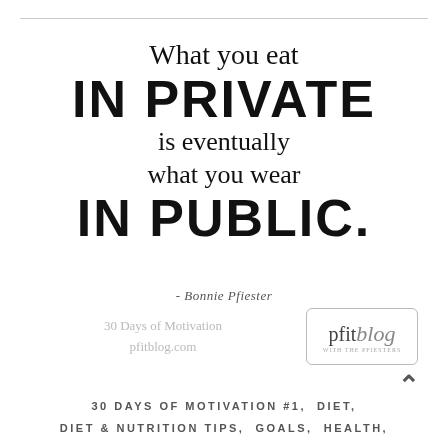What you eat IN PRIVATE is eventually what you wear IN PUBLIC.
- Bonnie Pfiester
[Figure (logo): pfitblog logo in a rounded rectangle border with text 'pfitblog' and tagline 'WITH THE PFIESTERS']
30 Days of Motivation pfitblog.com
30 DAYS OF MOTIVATION #1, DIET, DIET & NUTRITION TIPS, GOALS, HEALTH,